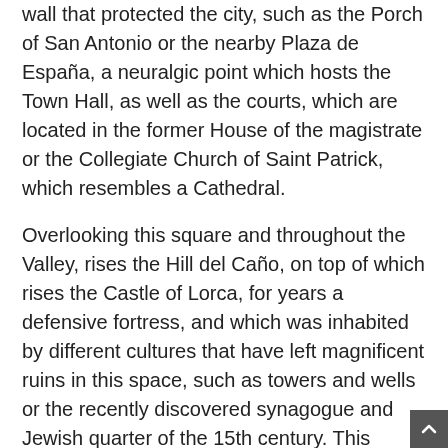wall that protected the city, such as the Porch of San Antonio or the nearby Plaza de España, a neuralgic point which hosts the Town Hall, as well as the courts, which are located in the former House of the magistrate or the Collegiate Church of Saint Patrick, which resembles a Cathedral.
Overlooking this square and throughout the Valley, rises the Hill del Caño, on top of which rises the Castle of Lorca, for years a defensive fortress, and which was inhabited by different cultures that have left magnificent ruins in this space, such as towers and wells or the recently discovered synagogue and Jewish quarter of the 15th century. This space has become a cultural theme park for leisure throughout the year, which, with an uninterrupted schedule, offers